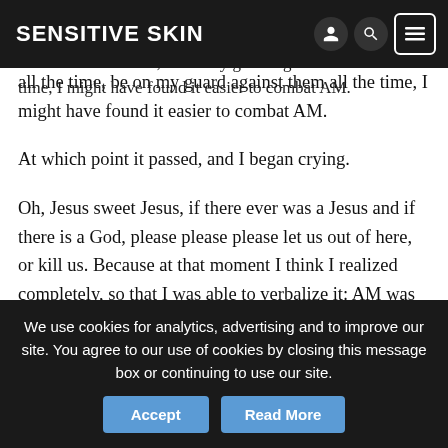SENSITIVE SKIN
the delusions; all the nightmares; the torments. But they were lined up, arrayed against me. If I hadn't had to stand them off all the time, be on my guard against them all the time, I might have found it easier to combat AM.
At which point it passed, and I began crying.
Oh, Jesus sweet Jesus, if there ever was a Jesus and if there is a God, please please please let us out of here, or kill us. Because at that moment I think I realized completely, so that I was able to verbalize it: AM was intent on keeping us in his belly forever, twisting and torturing us forever. The machine hated us as no sentient creature had ever hated before.
We use cookies for analytics, advertising and to improve our site. You agree to our use of cookies by closing this message box or continuing to use our site.